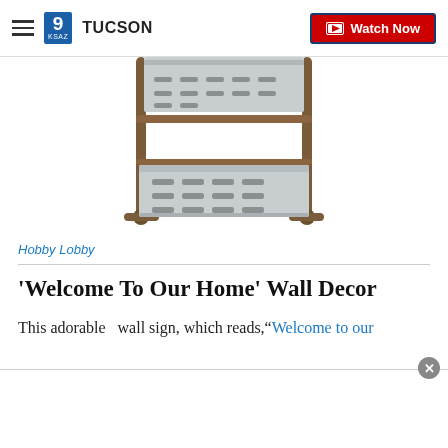9 KSAZ TUCSON | Watch Now
[Figure (photo): A two-tier galvanized metal shelf/rack with a dark brown metal frame, partially cropped at top, showing a rectangular lower basket tray with slotted perforations.]
Hobby Lobby
'Welcome To Our Home' Wall Decor
This adorable  wall sign, which reads,"Welcome to our